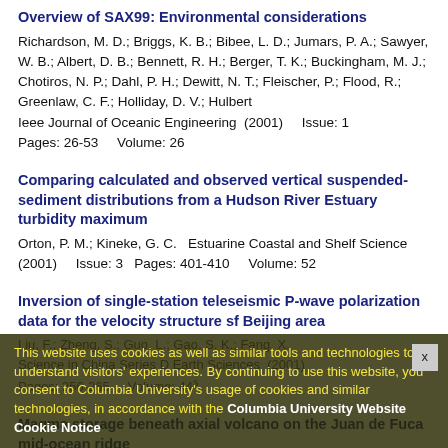Overview of SAX99: Environmental considerations
Richardson, M. D.; Briggs, K. B.; Bibee, L. D.; Jumars, P. A.; Sawyer, W. B.; Albert, D. B.; Bennett, R. H.; Berger, T. K.; Buckingham, M. J.; Chotiros, N. P.; Dahl, P. H.; Dewitt, N. T.; Fleischer, P.; Flood, R.; Greenlaw, C. F.; Holliday, D. V.; Hulbert Ieee Journal of Oceanic Engineering  (2001)    Issue: 1  Pages: 26-53    Volume: 26
Comparing calculated and observed vertical suspended-sediment distributions from a Hudson River Estuary turbidity maximum
Orton, P. M.; Kineke, G. C.  Estuarine Coastal and Shelf Science (2001)    Issue: 3  Pages: 401-410    Volume: 52
Inversion of single-station teleseismic P-wave polarization data for the velocity structure sf Beijing area
Cookie banner overlay: This website uses cookies as well as similar tools and technologies to understand visitors' experiences. By continuing to use this website, you consent to Columbia University's usage of cookies and similar technologies, in accordance with the Columbia University Website Cookie Notice
Magma storage beneath axial volcano on the Juan de Fuca mid-ocean ridge